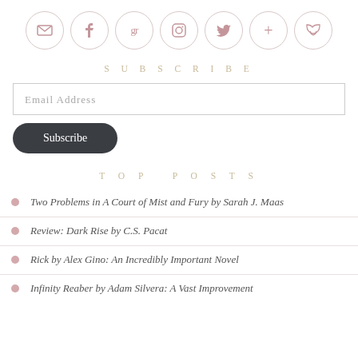[Figure (other): Row of seven circular social media icon buttons: email, Facebook, Goodreads (gr), Instagram, Twitter, Google+, RSS]
SUBSCRIBE
Email Address
Subscribe
TOP POSTS
Two Problems in A Court of Mist and Fury by Sarah J. Maas
Review: Dark Rise by C.S. Pacat
Rick by Alex Gino: An Incredibly Important Novel
Infinity Reaber by Adam Silvera: A Vast Improvement